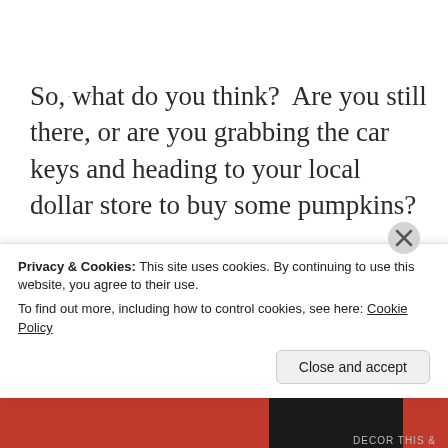So, what do you think?  Are you still there, or are you grabbing the car keys and heading to your local dollar store to buy some pumpkins?
********* Linking up to these awesome parties!*********
Privacy & Cookies: This site uses cookies. By continuing to use this website, you agree to their use.
To find out more, including how to control cookies, see here: Cookie Policy
Close and accept